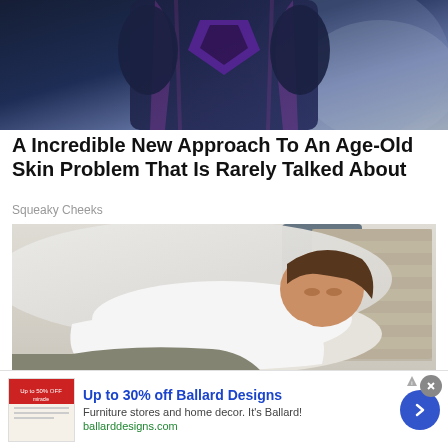[Figure (photo): Cropped photo of a person in a dark navy and purple superhero costume, torso and lower body visible against a grey-blue background]
A Incredible New Approach To An Age-Old Skin Problem That Is Rarely Talked About
Squeaky Cheeks
[Figure (photo): Photo of an overweight woman lying on a bed with white pillow and striped cushions, wearing a white t-shirt and grey shorts, resting with eyes nearly closed]
Up to 30% off Ballard Designs
Furniture stores and home decor. It's Ballard!
ballarddesigns.com